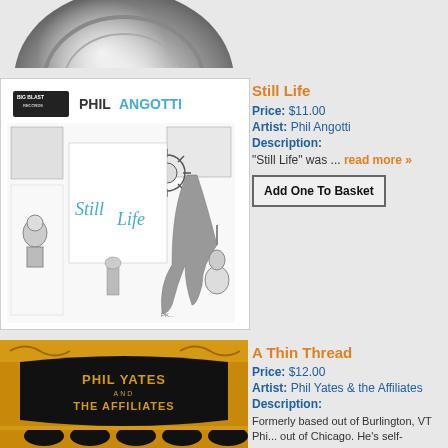[Figure (photo): Close-up photo of a metallic silver/chrome circular object, partially cropped at top of page]
[Figure (illustration): Album cover for 'Still Life' by Phil Angotti on Big Blast Records. Black and white illustration with whimsical characters, robots, and creatures. Text reads 'BIG BLAST RECORDS', 'PHIL ANGOTTI' in blue, and 'StillLife' in blue cursive.]
Still Life
Price: $11.00
Artist: Phil Angotti
Description:
“Still Life” was ... read more »
Add One To Basket
[Figure (illustration): Album cover for 'A Thin Thread' by Phil Yates and The Affiliates. Yellow and black design with ornate lettering reading 'PHIL YATES AND THE AFFILIATES' and black oval shapes at bottom.]
A Thin Thread
Price: $12.00
Artist: Phil Yates & the Affiliates
Description:
Formerly based out of Burlington, VT Phi... out of Chicago. He's self-described his h... too rocky for the folkers. “A Thin Threa... »